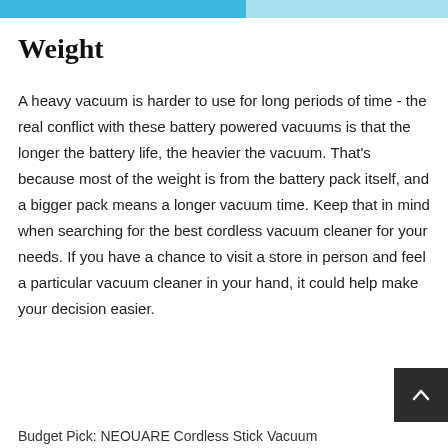Weight
A heavy vacuum is harder to use for long periods of time - the real conflict with these battery powered vacuums is that the longer the battery life, the heavier the vacuum. That's because most of the weight is from the battery pack itself, and a bigger pack means a longer vacuum time. Keep that in mind when searching for the best cordless vacuum cleaner for your needs. If you have a chance to visit a store in person and feel a particular vacuum cleaner in your hand, it could help make your decision easier.
Budget Pick: NEOUARE Cordless Stick Vacuum